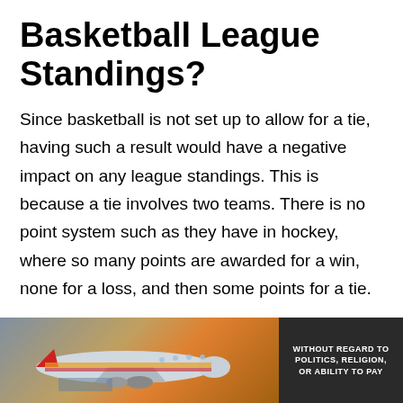Basketball League Standings?
Since basketball is not set up to allow for a tie, having such a result would have a negative impact on any league standings. This is because a tie involves two teams. There is no point system such as they have in hockey, where so many points are awarded for a win, none for a loss, and then some points for a tie.
Having a tie in basketball would mean that the two teams would suffer in the standings. This is why the only real exception to allowing for a tie is in European league playoffs, where an aggregate point system is now in
[Figure (photo): Advertisement banner showing an airplane being loaded with cargo, with text 'WITHOUT REGARD TO POLITICS, RELIGION, OR ABILITY TO PAY' on a dark background on the right side.]